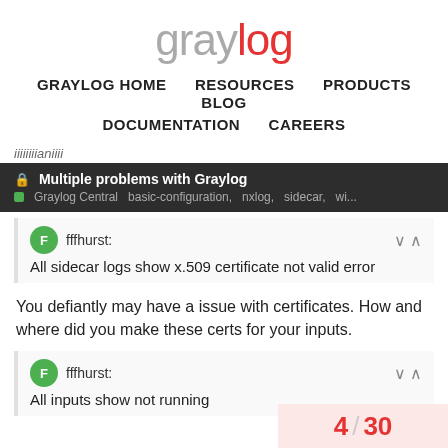[Figure (logo): Graylog logo: 'gray' in gray and 'log' in red with a circular icon]
GRAYLOG HOME   RESOURCES   PRODUCTS   BLOG   DOCUMENTATION   CAREERS
iiiiiiiianiiii
🔒 Multiple problems with Graylog
■ Graylog Central  basic-configuration,  nxlog,  sidecar,  wi...
fffhurst:
All sidecar logs show x.509 certificate not valid error
You defiantly may have a issue with certificates. How and where did you make these certs for your inputs.
fffhurst:
All inputs show not running
4 / 30